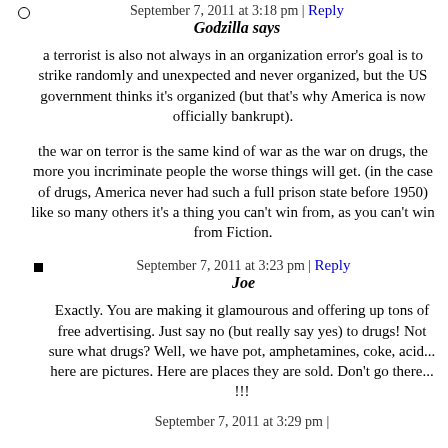September 7, 2011 at 3:18 pm | Reply
Godzilla says
a terrorist is also not always in an organization error's goal is to strike randomly and unexpected and never organized, but the US government thinks it's organized (but that's why America is now officially bankrupt).
the war on terror is the same kind of war as the war on drugs, the more you incriminate people the worse things will get. (in the case of drugs, America never had such a full prison state before 1950) like so many others it's a thing you can't win from, as you can't win from Fiction.
September 7, 2011 at 3:23 pm | Reply
Joe
Exactly. You are making it glamourous and offering up tons of free advertising. Just say no (but really say yes) to drugs! Not sure what drugs? Well, we have pot, amphetamines, coke, acid... here are pictures. Here are places they are sold. Don't go there... !!!
September 7, 2011 at 3:29 pm |